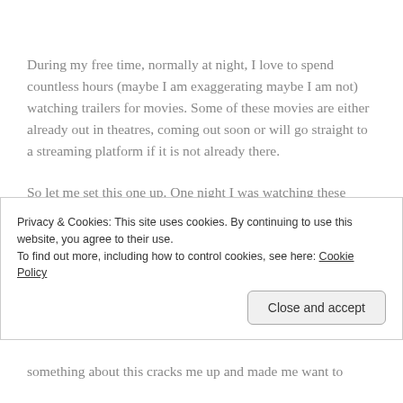During my free time, normally at night, I love to spend countless hours (maybe I am exaggerating maybe I am not) watching trailers for movies. Some of these movies are either already out in theatres, coming out soon or will go straight to a streaming platform if it is not already there.
So let me set this one up. One night I was watching these trailers and one came for a-who-did-it, repeat the day college thriller. So basically the trailer shows a girl waking up on her birthday after a one-night stand and she goes
Privacy & Cookies: This site uses cookies. By continuing to use this website, you agree to their use.
To find out more, including how to control cookies, see here: Cookie Policy
Close and accept
something about this cracks me up and made me want to